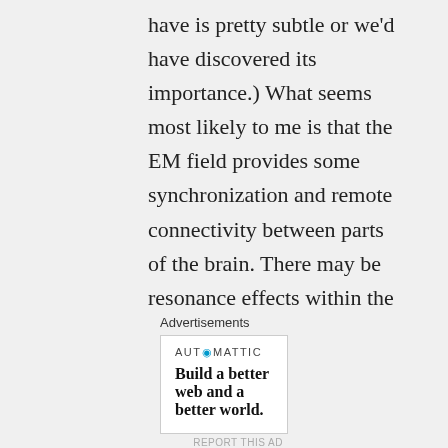have is pretty subtle or we'd have discovered its importance.) What seems most likely to me is that the EM field provides some synchronization and remote connectivity between parts of the brain. There may be resonance effects within the skull. The brain evolved in its own EMF bath, and nature tends to leverage everything. Even quantum effects might
Advertisements
[Figure (other): Automattic advertisement banner reading 'Build a better web and a better world.']